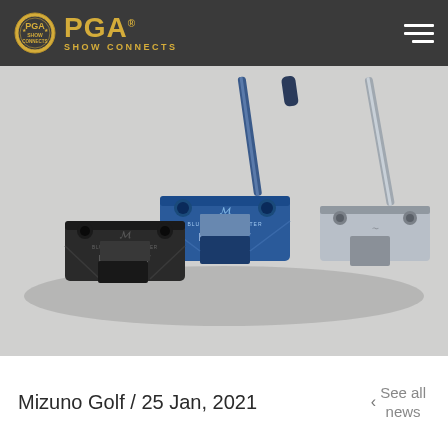PGA SHOW CONNECTS
[Figure (photo): Three Mizuno Golf M-Craft putters displayed side by side — one black, one blue (Blue Tundra Master), and one chrome/silver — on a light grey background. Each putter shows the Mizuno bird logo and M-CRAFT text on the face.]
Mizuno Golf / 25 Jan, 2021
See all news